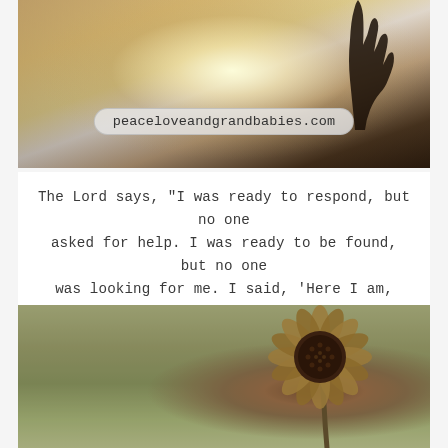[Figure (photo): Top photo: hand silhouette raised toward bright sunlit sky with warm golden haze, website URL badge overlay reading peaceloveandgrandbabies.com]
The Lord says, "I was ready to respond, but no one asked for help. I was ready to be found, but no one was looking for me. I said, 'Here I am, here I am!' to a nation that did not call on my name."
- Isaiah 65:1
[Figure (photo): Bottom photo: dried/dead sunflower head on stem in a blurred green field landscape background]